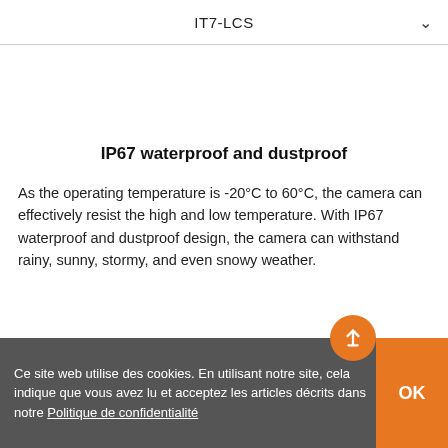IT7-LCS
IP67 waterproof and dustproof
As the operating temperature is -20°C to 60°C, the camera can effectively resist the high and low temperature. With IP67 waterproof and dustproof design, the camera can withstand rainy, sunny, stormy, and even snowy weather.
Ce site web utilise des cookies. En utilisant notre site, cela indique que vous avez lu et acceptez les articles décrits dans notre Politique de confidentialité